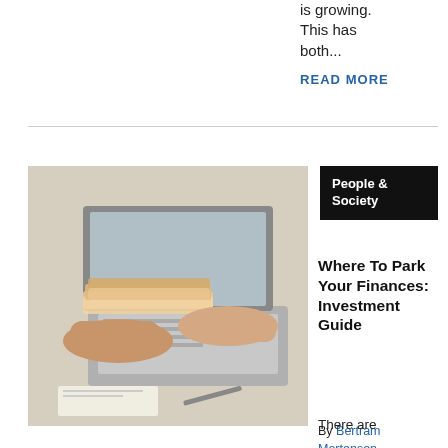is growing. This has both...
READ MORE
[Figure (photo): Two hands exchanging a stack of banknotes over a laptop keyboard on a desk]
People & Society
Where To Park Your Finances: Investment Guide
By Bertram Mortensen - Jun 10, 2022
There are